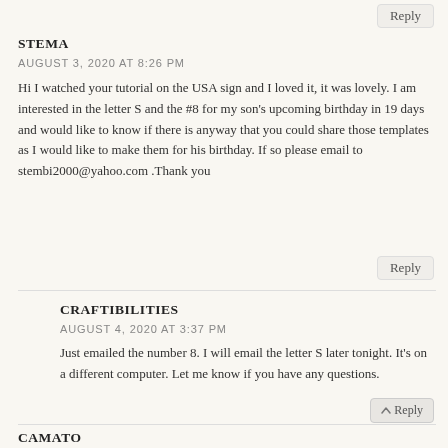Reply
STEMA
AUGUST 3, 2020 AT 8:26 PM
Hi I watched your tutorial on the USA sign and I loved it, it was lovely. I am interested in the letter S and the #8 for my son's upcoming birthday in 19 days and would like to know if there is anyway that you could share those templates as I would like to make them for his birthday. If so please email to stembi2000@yahoo.com .Thank you
Reply
CRAFTIBILITIES
AUGUST 4, 2020 AT 3:37 PM
Just emailed the number 8. I will email the letter S later tonight. It's on a different computer. Let me know if you have any questions.
Reply
CAMATO
AUGUST 5, 2020 AT 9:10 AM